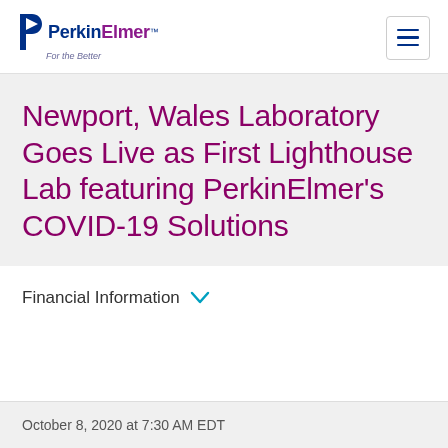[Figure (logo): PerkinElmer logo with blue P arrow icon, 'PerkinElmer' wordmark in blue and purple, tagline 'For the Better' in italic purple-grey]
Newport, Wales Laboratory Goes Live as First Lighthouse Lab featuring PerkinElmer’s COVID-19 Solutions
Financial Information ∨
October 8, 2020 at 7:30 AM EDT